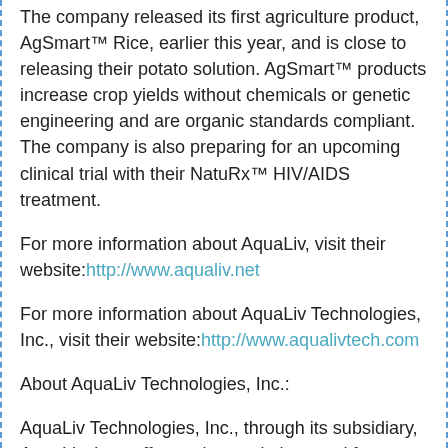The company released its first agriculture product, AgSmart™ Rice, earlier this year, and is close to releasing their potato solution. AgSmart™ products increase crop yields without chemicals or genetic engineering and are organic standards compliant. The company is also preparing for an upcoming clinical trial with their NatuRx™ HIV/AIDS treatment.
For more information about AquaLiv, visit their website:http://www.aqualiv.net
For more information about AquaLiv Technologies, Inc., visit their website:http://www.aqualivtech.com
About AquaLiv Technologies, Inc.:
AquaLiv Technologies, Inc., through its subsidiary, AquaLiv, Inc., offers unique solutions and for a variety of industries.
AquaLiv, Inc. is a life sciences research and